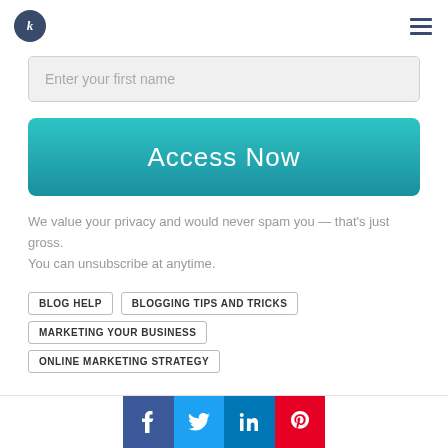[Figure (logo): Dark blue circular logo with stylized letter in white]
[Figure (infographic): Hamburger menu icon (three horizontal lines)]
Enter your first name
Access Now
We value your privacy and would never spam you — that's just gross. You can unsubscribe at anytime.
BLOG HELP
BLOGGING TIPS AND TRICKS
MARKETING YOUR BUSINESS
ONLINE MARKETING STRATEGY
[Figure (infographic): Social media share bar with Facebook, Twitter, LinkedIn, Pinterest icons]